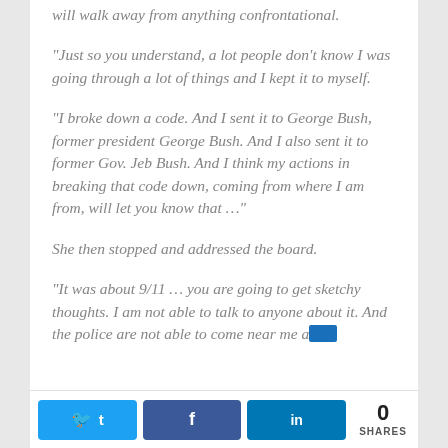will walk away from anything confrontational.
“Just so you understand, a lot people don’t know I was going through a lot of things and I kept it to myself.
“I broke down a code. And I sent it to George Bush, former president George Bush. And I also sent it to former Gov. Jeb Bush. And I think my actions in breaking that code down, coming from where I am from, will let you know that …”
She then stopped and addressed the board.
“It was about 9/11 … you are going to get sketchy thoughts. I am not able to talk to anyone about it. And the police are not able to come near me a—